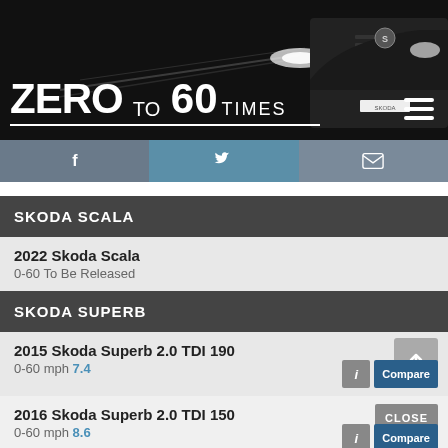[Figure (screenshot): Zero to 60 Times website header banner with car image and white light streaks on dark background]
ZERO TO 60 TIMES
[Figure (infographic): Social media bar with Facebook, Twitter, and email icons]
SKODA SCALA
2022 Skoda Scala
0-60 To Be Released
SKODA SUPERB
2015 Skoda Superb 2.0 TDI 190
0-60 mph 7.4
2016 Skoda Superb 2.0 TDI 150
0-60 mph 8.6
2016 Skoda Superb 2.0 TDI 150 SE